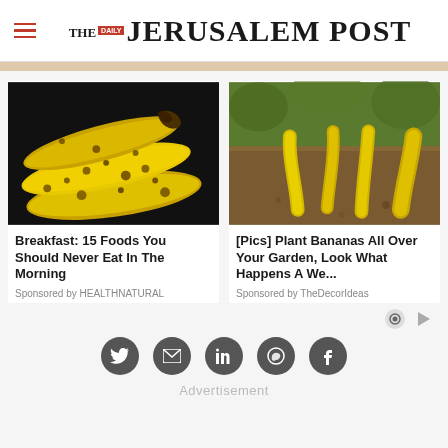THE JERUSALEM POST
[Figure (photo): Spotted bananas on dark background (left card image)]
Breakfast: 15 Foods You Should Never Eat In The Morning
Sponsored by HEALTHNATURAL
[Figure (photo): Banana peels planted upright in garden soil (right card image)]
[Pics] Plant Bananas All Over Your Garden, Look What Happens A We...
Sponsored by TheDecorIdeas
Advertisement